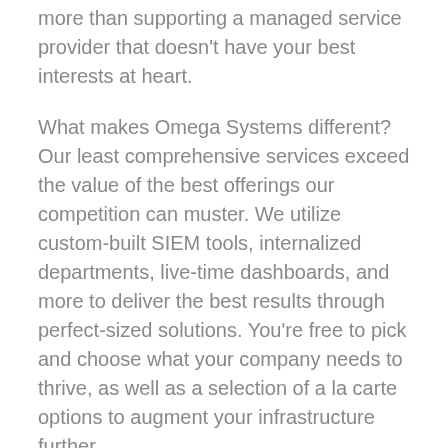more than supporting a managed service provider that doesn't have your best interests at heart.
What makes Omega Systems different? Our least comprehensive services exceed the value of the best offerings our competition can muster. We utilize custom-built SIEM tools, internalized departments, live-time dashboards, and more to deliver the best results through perfect-sized solutions. You're free to pick and choose what your company needs to thrive, as well as a selection of a la carte options to augment your infrastructure further.
We built our own Managed Cybersecurity Solution. Our competitors make do with third-party solutions rebranded as their own service